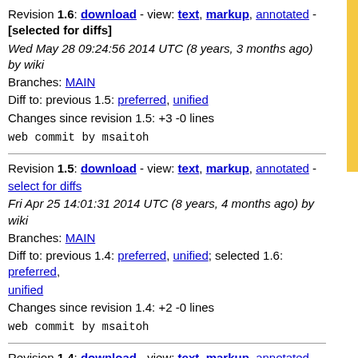Revision 1.6: download - view: text, markup, annotated - [selected for diffs]
Wed May 28 09:24:56 2014 UTC (8 years, 3 months ago) by wiki
Branches: MAIN
Diff to: previous 1.5: preferred, unified
Changes since revision 1.5: +3 -0 lines
web commit by msaitoh
Revision 1.5: download - view: text, markup, annotated - select for diffs
Fri Apr 25 14:01:31 2014 UTC (8 years, 4 months ago) by wiki
Branches: MAIN
Diff to: previous 1.4: preferred, unified; selected 1.6: preferred, unified
Changes since revision 1.4: +2 -0 lines
web commit by msaitoh
Revision 1.4: download - view: text, markup, annotated - select for diffs
Fri Apr 25 04:24:31 2014 UTC (8 years, 4 months ago) by wiki
Branches: MAIN
Diff to: previous 1.3: preferred, unified; selected 1.6: preferred, unified